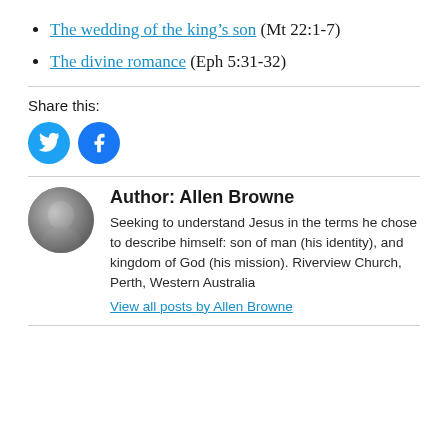The wedding of the king's son (Mt 22:1-7)
The divine romance (Eph 5:31-32)
Share this:
[Figure (illustration): Twitter and Facebook share buttons as blue circular icons]
Author: Allen Browne
Seeking to understand Jesus in the terms he chose to describe himself: son of man (his identity), and kingdom of God (his mission). Riverview Church, Perth, Western Australia
View all posts by Allen Browne